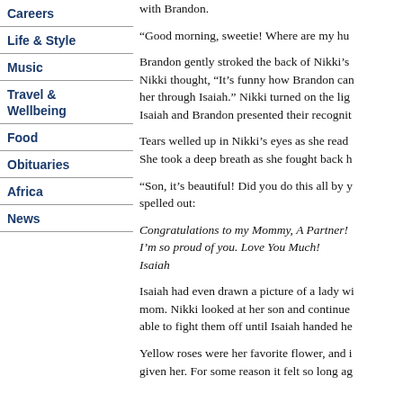Careers
Life & Style
Music
Travel & Wellbeing
Food
Obituaries
Africa
News
with Brandon.
“Good morning, sweetie!  Where are my hu
Brandon gently stroked the back of Nikki’s Nikki thought, “It’s funny how Brandon can her through Isaiah.”  Nikki turned on the lig Isaiah and Brandon presented their recognit
Tears welled up in Nikki’s eyes as she read She took a deep breath as she fought back h
“Son, it’s beautiful!  Did you do this all by y spelled out:
Congratulations to my Mommy, A Partner!
I’m so proud of you.  Love You Much!
Isaiah
Isaiah had even drawn a picture of a lady wi mom.  Nikki looked at her son and continue able to fight them off until Isaiah handed he
Yellow roses were her favorite flower, and i given her.  For some reason it felt so long ag